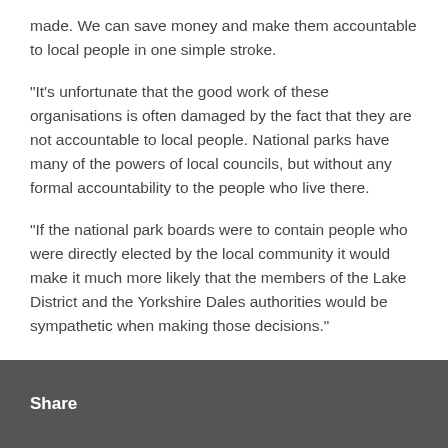made. We can save money and make them accountable to local people in one simple stroke.
"It's unfortunate that the good work of these organisations is often damaged by the fact that they are not accountable to local people. National parks have many of the powers of local councils, but without any formal accountability to the people who live there.
"If the national park boards were to contain people who were directly elected by the local community it would make it much more likely that the members of the Lake District and the Yorkshire Dales authorities would be sympathetic when making those decisions."
Share